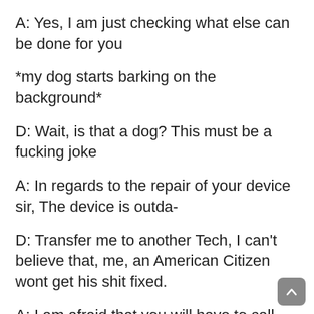A: Yes, I am just checking what else can be done for you
*my dog starts barking on the background*
D: Wait, is that a dog? This must be a fucking joke
A: In regards to the repair of your device sir, The device is outda-
D: Transfer me to another Tech, I can't believe that, me, an American Citizen wont get his shit fixed.
A: I am afraid that you will have to call back in order to get another tech, and, being honest with you, another Tech will tell you exactly the same